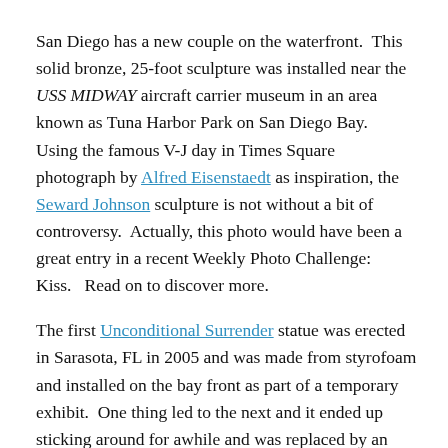San Diego has a new couple on the waterfront.  This solid bronze, 25-foot sculpture was installed near the USS MIDWAY aircraft carrier museum in an area known as Tuna Harbor Park on San Diego Bay.  Using the famous V-J day in Times Square photograph by Alfred Eisenstaedt as inspiration, the Seward Johnson sculpture is not without a bit of controversy.  Actually, this photo would have been a great entry in a recent Weekly Photo Challenge: Kiss.   Read on to discover more.
The first Unconditional Surrender statue was erected in Sarasota, FL in 2005 and was made from styrofoam and installed on the bay front as part of a temporary exhibit.  One thing led to the next and it ended up sticking around for awhile and was replaced by an aluminum copy.  A car crash in 2012 damaged the sculpture by knocking a 3-foot hole in the sailor's shoe.  Evidently, debate continues in Florida as to whether or not